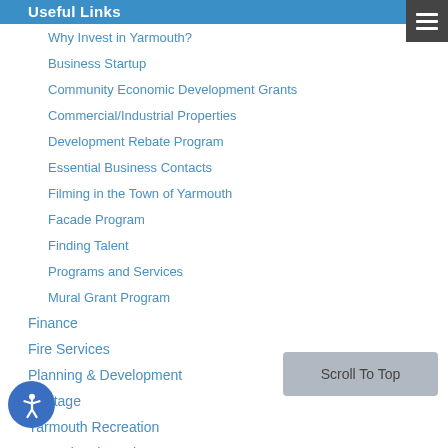Useful Links
Why Invest in Yarmouth?
Business Startup
Community Economic Development Grants
Commercial/Industrial Properties
Development Rebate Program
Essential Business Contacts
Filming in the Town of Yarmouth
Facade Program
Finding Talent
Programs and Services
Mural Grant Program
Finance
Fire Services
Planning & Development
Heritage
Yarmouth Recreation
Operational Services
Partner Organizations
Contacts